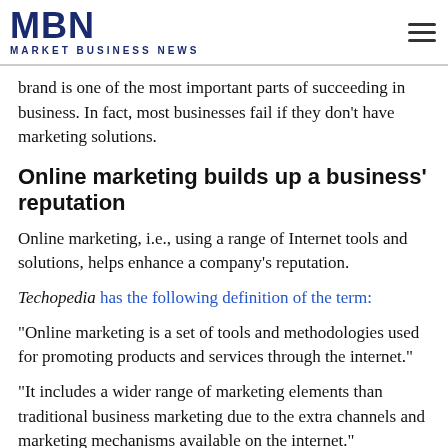MBN MARKET BUSINESS NEWS
brand is one of the most important parts of succeeding in business. In fact, most businesses fail if they don't have marketing solutions.
Online marketing builds up a business' reputation
Online marketing, i.e., using a range of Internet tools and solutions, helps enhance a company's reputation.
Techopedia has the following definition of the term:
“Online marketing is a set of tools and methodologies used for promoting products and services through the internet.”
“It includes a wider range of marketing elements than traditional business marketing due to the extra channels and marketing mechanisms available on the internet.”